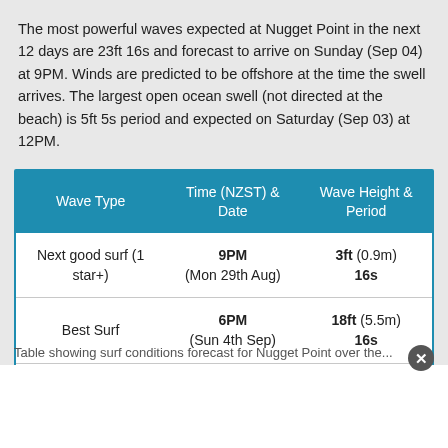The most powerful waves expected at Nugget Point in the next 12 days are 23ft 16s and forecast to arrive on Sunday (Sep 04) at 9PM. Winds are predicted to be offshore at the time the swell arrives. The largest open ocean swell (not directed at the beach) is 5ft 5s period and expected on Saturday (Sep 03) at 12PM.
| Wave Type | Time (NZST) & Date | Wave Height & Period |
| --- | --- | --- |
| Next good surf (1 star+) | 9PM
(Mon 29th Aug) | 3ft (0.9m)
16s |
| Best Surf | 6PM
(Sun 4th Sep) | 18ft (5.5m)
16s |
| Most Powerful | 9PM
(Sun 4th Sep) | 23ft (7.0m)
16s |
Table showing surf conditions forecast for Nugget Point over the...